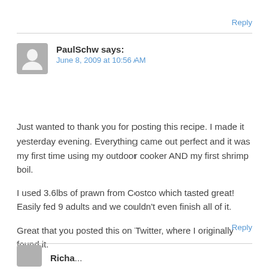Reply
PaulSchw says:
June 8, 2009 at 10:56 AM
Just wanted to thank you for posting this recipe. I made it yesterday evening. Everything came out perfect and it was my first time using my outdoor cooker AND my first shrimp boil.

I used 3.6lbs of prawn from Costco which tasted great! Easily fed 9 adults and we couldn't even finish all of it.

Great that you posted this on Twitter, where I originally found it.
Reply